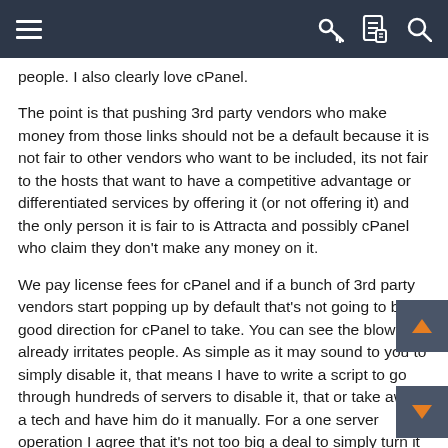Navigation bar with hamburger menu, key icon, document icon, and search icon
people. I also clearly love cPanel.
The point is that pushing 3rd party vendors who make money from those links should not be a default because it is not fair to other vendors who want to be included, its not fair to the hosts that want to have a competitive advantage or differentiated services by offering it (or not offering it) and the only person it is fair to is Attracta and possibly cPanel who claim they don't make any money on it.
We pay license fees for cPanel and if a bunch of 3rd party vendors start popping up by default that's not going to be a good direction for cPanel to take. You can see the blowback already irritates people. As simple as it may sound to you to simply disable it, that means I have to write a script to go through hundreds of servers to disable it, that or take away a tech and have him do it manually. For a one server operation I agree that it's not too big a deal to simply turn it off, but that's not the point really.
Maybe we already have a vendor linked from our panel which